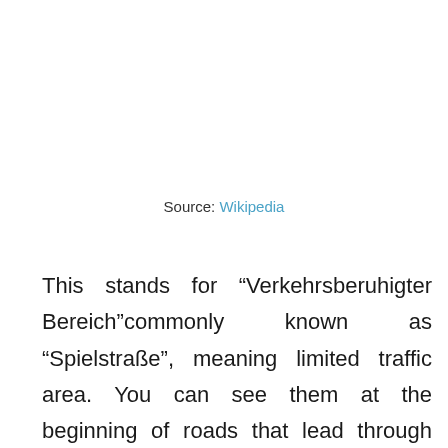Source: Wikipedia
This stands for “Verkehrsberuhigter Bereich”commonly known as “Spielstraße”, meaning limited traffic area. You can see them at the beginning of roads that lead through densely populated residential areas. As soon as you see this sign, you should to drive in “Schrittgeschwindigkeit” or walking speed, which